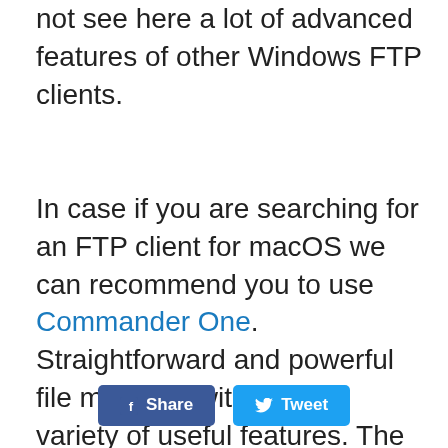not see here a lot of advanced features of other Windows FTP clients.
In case if you are searching for an FTP client for macOS we can recommend you to use Commander One. Straightforward and powerful file manager with a great variety of useful features. The app supports connection to remote servers via FTP, SFTP, and FTPS. Among the rest of the feature, it is worth noting, that the app makes it possible to mount cloud storages as hard drives and work with their content in no time.